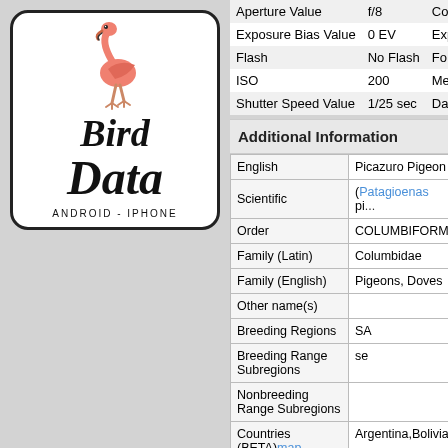[Figure (logo): Bird Data app logo with flamingo illustration and text 'Bird Data ANDROID - IPHONE']
| Property | Value | Extra |
| --- | --- | --- |
| Aperture Value | f/8 | Co... |
| Exposure Bias Value | 0 EV | Exp... |
| Flash | No Flash | Fo... |
| ISO | 200 | Me... |
| Shutter Speed Value | 1/25 sec | Da... |
Additional Information
| Field | Value |
| --- | --- |
| English | Picazuro Pigeon |
| Scientific | (Patagioenas pi... |
| Order | COLUMBIFORM... |
| Family (Latin) | Columbidae |
| Family (English) | Pigeons, Doves |
| Other name(s) |  |
| Breeding Regions | SA |
| Breeding Range Subregions | se |
| Nonbreeding Range Subregions |  |
| Countries (BETA) map | Argentina,Bolivia... |
|  | Group | Subspec... |